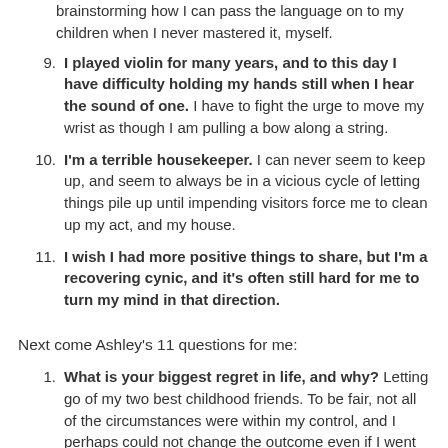brainstorming how I can pass the language on to my children when I never mastered it, myself.
9. I played violin for many years, and to this day I have difficulty holding my hands still when I hear the sound of one. I have to fight the urge to move my wrist as though I am pulling a bow along a string.
10. I'm a terrible housekeeper. I can never seem to keep up, and seem to always be in a vicious cycle of letting things pile up until impending visitors force me to clean up my act, and my house.
11. I wish I had more positive things to share, but I'm a recovering cynic, and it's often still hard for me to turn my mind in that direction.
Next come Ashley's 11 questions for me:
1. What is your biggest regret in life, and why? Letting go of my two best childhood friends. To be fair, not all of the circumstances were within my control, and I perhaps could not change the outcome even if I went